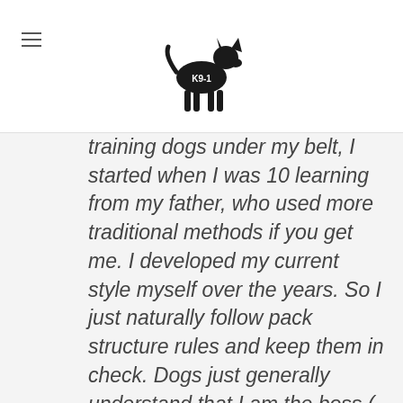K9-1 logo and navigation
training dogs under my belt, I started when I was 10 learning from my father, who used more traditional methods if you get me. I developed my current style myself over the years. So I just naturally follow pack structure rules and keep them in check. Dogs just generally understand that I am the boss ( a big claim I know). My wife has grown up round